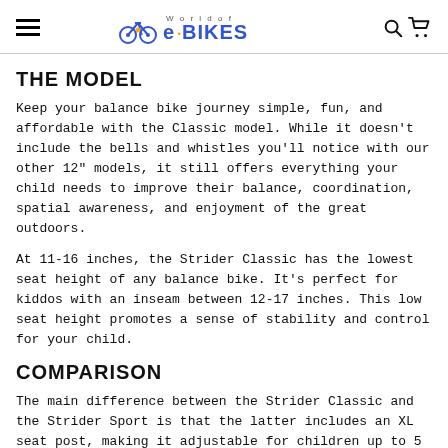World of e·BIKES
THE MODEL
Keep your balance bike journey simple, fun, and affordable with the Classic model. While it doesn't include the bells and whistles you'll notice with our other 12" models, it still offers everything your child needs to improve their balance, coordination, spatial awareness, and enjoyment of the great outdoors.
At 11-16 inches, the Strider Classic has the lowest seat height of any balance bike. It's perfect for kiddos with an inseam between 12-17 inches. This low seat height promotes a sense of stability and control for your child.
COMPARISON
The main difference between the Strider Classic and the Strider Sport is that the latter includes an XL seat post, making it adjustable for children up to 5 years of age (you can buy the XL seat post separately to modify your 12" Classic as needed). The Strider 12" Classic Bike features a Standard Handlebar and